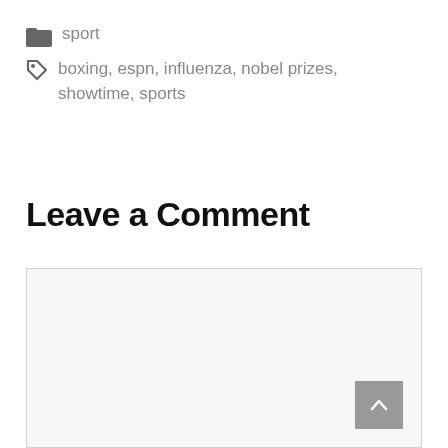sport
boxing, espn, influenza, nobel prizes, showtime, sports
Leave a Comment